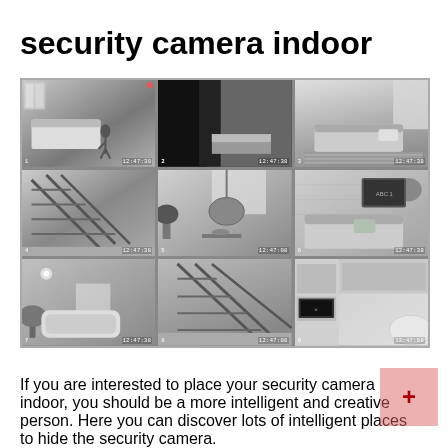security camera indoor
[Figure (photo): 3x3 grid of black-and-white indoor security camera footage showing various rooms including bedrooms, living rooms, stairways, and a kitchen, each with timestamps around 12:47]
If you are interested to place your security camera indoor, you should be a more intelligent and creative person. Here you can discover lots of intelligent places to hide the security camera.